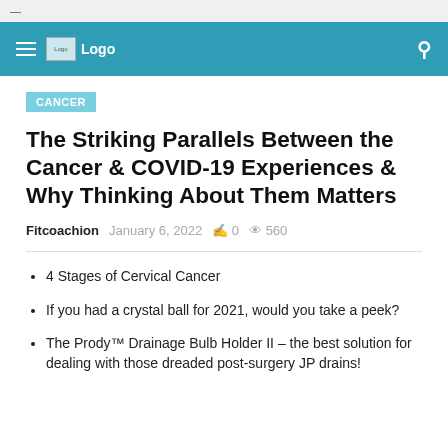—
[Figure (logo): Navigation bar with hamburger menu, Logo image, and search icon on teal background]
CANCER
The Striking Parallels Between the Cancer & COVID-19 Experiences & Why Thinking About Them Matters
Fitcoachion   January 6, 2022   0   560
4 Stages of Cervical Cancer
If you had a crystal ball for 2021, would you take a peek?
The Prody™ Drainage Bulb Holder II – the best solution for dealing with those dreaded post-surgery JP drains!